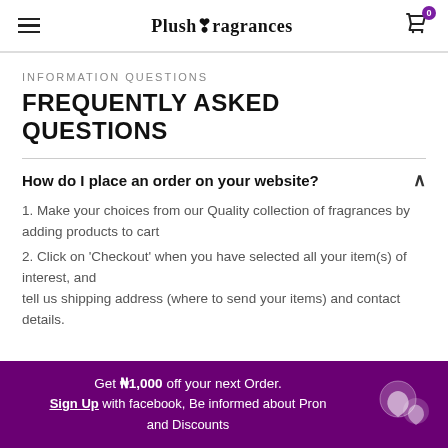PlushFragrances
INFORMATION QUESTIONS
FREQUENTLY ASKED QUESTIONS
How do I place an order on your website?
1. Make your choices from our Quality collection of fragrances by adding products to cart
2. Click on 'Checkout' when you have selected all your item(s) of interest, and tell us shipping address (where to send your items) and contact details.
Get ₦1,000 off your next Order. Sign Up with facebook, Be informed about Pron and Discounts